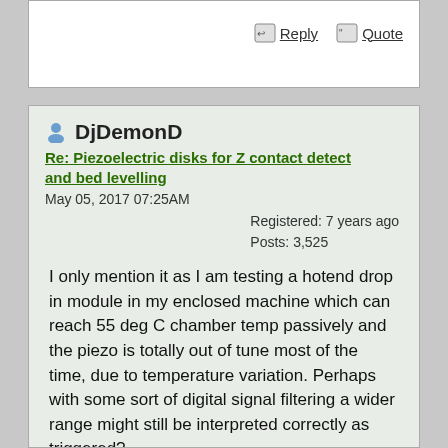Reply   Quote
DjDemonD
Re: Piezoelectric disks for Z contact detect and bed levelling
May 05, 2017 07:25AM
Registered: 7 years ago
Posts: 3,525
I only mention it as I am testing a hotend drop in module in my enclosed machine which can reach 55 deg C chamber temp passively and the piezo is totally out of tune most of the time, due to temperature variation. Perhaps with some sort of digital signal filtering a wider range might still be interpreted correctly as triggered?
I will obtain some of the piezo rings and try them, I also have a piezo film element to play with, its just finding the time.
I'm just looking to find a way to reduce the amount of messing around a potential customer/user of this system has to do, its no problem for a kit, we expect to have to fiddle and tinker, think ultibots fsr kit for